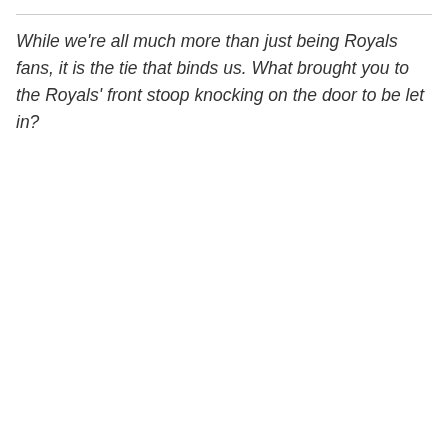While we're all much more than just being Royals fans, it is the tie that binds us. What brought you to the Royals' front stoop knocking on the door to be let in?